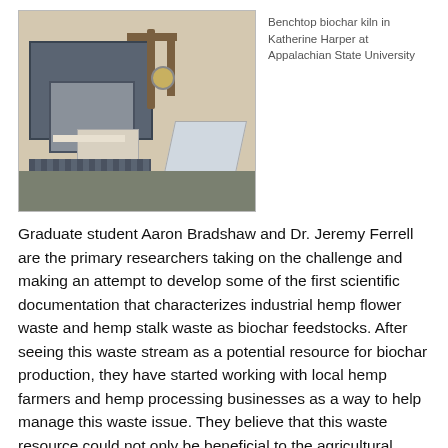[Figure (photo): A benchtop biochar kiln in a laboratory setting. The kiln is a grey box-shaped furnace with an open door showing a white shelf inside, connected to metal pipes and a pressure gauge. A foil-wrapped tray sits on the bench beside it. Wooden wall panels visible in background.]
Benchtop biochar kiln in Katherine Harper at Appalachian State University
Graduate student Aaron Bradshaw and Dr. Jeremy Ferrell are the primary researchers taking on the challenge and making an attempt to develop some of the first scientific documentation that characterizes industrial hemp flower waste and hemp stalk waste as biochar feedstocks. After seeing this waste stream as a potential resource for biochar production, they have started working with local hemp farmers and hemp processing businesses as a way to help manage this waste issue. They believe that this waste resource could not only be beneficial to the agricultural industry, but also the environment.
The biochar itself acts as a fertilizer once it is inoculated with the appropriate microorganisms and nutrients